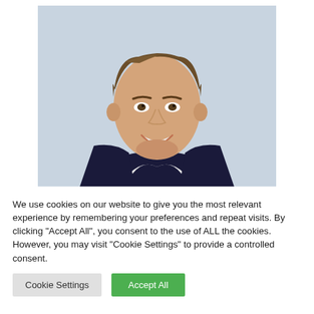[Figure (photo): Professional headshot of a smiling man with brown hair wearing a dark navy blazer and white shirt, against a light blue/grey background.]
We use cookies on our website to give you the most relevant experience by remembering your preferences and repeat visits. By clicking "Accept All", you consent to the use of ALL the cookies. However, you may visit "Cookie Settings" to provide a controlled consent.
Cookie Settings | Accept All